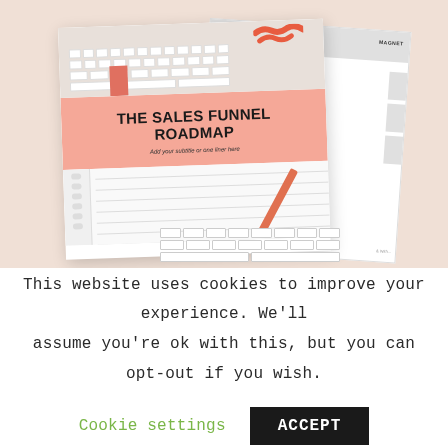[Figure (illustration): Marketing lead magnet mockup showing 'The Sales Funnel Roadmap' document with a salmon/pink title band, overlaid on a keyboard and notebook background, set against a peach background. A second document with gray bars is visible behind.]
This website uses cookies to improve your experience. We'll assume you're ok with this, but you can opt-out if you wish.
Cookie settings
ACCEPT